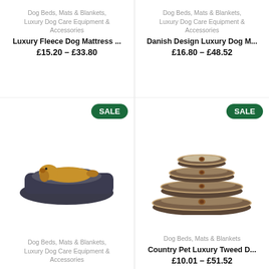Dog Beds, Mats & Blankets, Luxury Dog Care Equipment & Accessories
Luxury Fleece Dog Mattress ...
£15.20 – £33.80
Dog Beds, Mats & Blankets, Luxury Dog Care Equipment & Accessories
Danish Design Luxury Dog M...
£16.80 – £48.52
[Figure (photo): A yellow Labrador lying in a dark blue rectangular dog bed, SALE badge in green]
Dog Beds, Mats & Blankets, Luxury Dog Care Equipment & Accessories
[Figure (photo): Stack of four oval tweed-pattern dog beds in brown/grey with beige lining and brown button accents, SALE badge in green]
Dog Beds, Mats & Blankets
Country Pet Luxury Tweed D...
£10.01 – £51.52